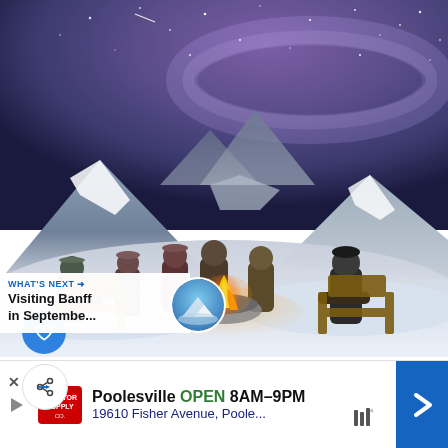[Figure (photo): People sitting around a fire pit in Adirondack chairs in a snowy mountain landscape at night with the Milky Way visible in the purple-blue sky. Snow-covered peaks in the background.]
WHAT'S NEXT → Visiting Banff in Septembe...
Enjoying the fire in the winter at the Chateau...
[Figure (screenshot): Advertisement banner: Poolesville OPEN 8AM-9PM, 19610 Fisher Avenue, Poole... Tractor Supply Co. logo with navigation arrow icon.]